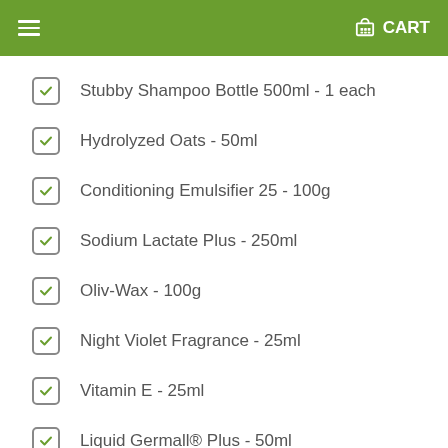CART
Stubby Shampoo Bottle 500ml - 1 each
Hydrolyzed Oats - 50ml
Conditioning Emulsifier 25 - 100g
Sodium Lactate Plus - 250ml
Oliv-Wax - 100g
Night Violet Fragrance - 25ml
Vitamin E - 25ml
Liquid Germall® Plus - 50ml
Tottle Tube (XXL) - each